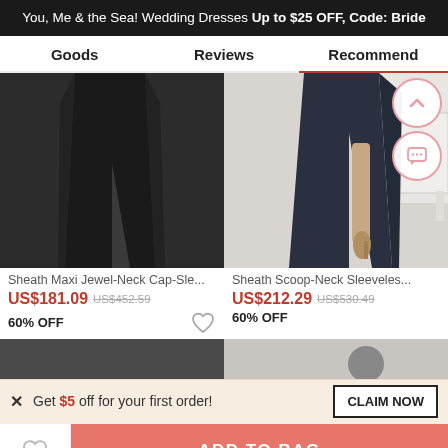You, Me & the Sea! Wedding Dresses Up to $25 OFF, Code: Bride
Goods   Reviews   Recommend
[Figure (photo): Two product photos side by side: left shows a black sheath maxi dress with a slit; right shows a dark navy sheath scoop-neck sleeveless dress with a high slit, model standing in heels]
Sheath Maxi Jewel-Neck Cap-Sle...
US$181.09  US$452.59  60% OFF
Sheath Scoop-Neck Sleeveles...
US$212.29  US$530.49  60% OFF
Get $5 off for your first order!
ADD TO BAG